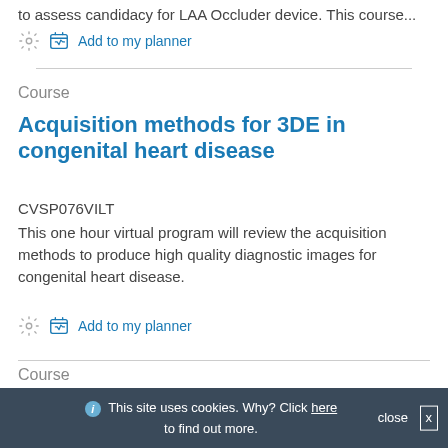to assess candidacy for LAA Occluder device. This course...
Add to my planner
Course
Acquisition methods for 3DE in congenital heart disease
CVSP076VILT
This one hour virtual program will review the acquisition methods to produce high quality diagnostic images for congenital heart disease.
Add to my planner
Course
Image display, optimization and quantitation methods for 3DE in congenital heart disease
CVSP078VILT
This site uses cookies. Why? Click here to find out more.